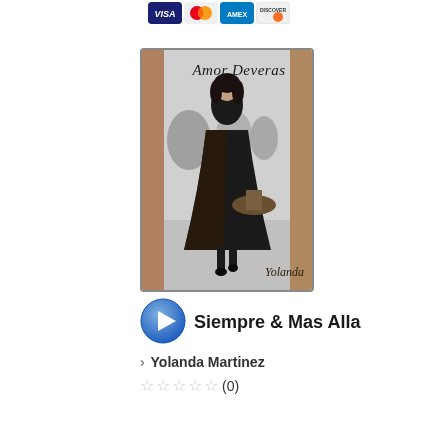[Figure (logo): Payment method icons: Visa, Mastercard, Amex, Discover credit card logos]
[Figure (photo): Album cover for 'Amor Deveras' by Yolanda. A woman in a black floral dress holding a hat, black and white photo center with golden-brown side panels. Title 'Amor Deveras' in italic script at top and 'Yolanda' in italic script at bottom right.]
Siempre & Mas Alla
› Yolanda Martinez
☆☆☆☆☆ (0)